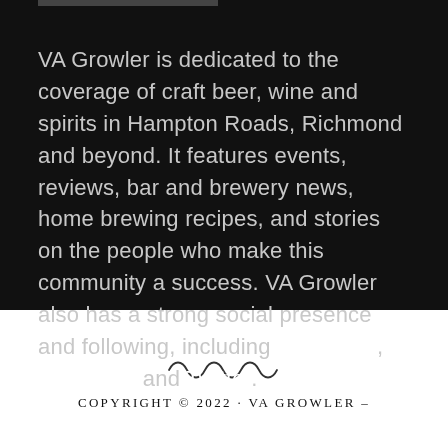VA Growler is dedicated to the coverage of craft beer, wine and spirits in Hampton Roads, Richmond and beyond. It features events, reviews, bar and brewery news, home brewing recipes, and stories on the people who make this community a success. VA Growler also has a strong social presence and following, including Instagram, Facebook and Twitter.
[Figure (illustration): Decorative squiggle/wave divider]
COPYRIGHT © 2022 · VA GROWLER –